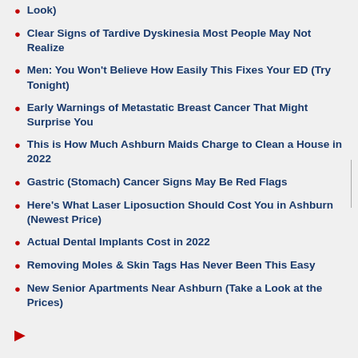Clear Signs of Tardive Dyskinesia Most People May Not Realize
Men: You Won't Believe How Easily This Fixes Your ED (Try Tonight)
Early Warnings of Metastatic Breast Cancer That Might Surprise You
This is How Much Ashburn Maids Charge to Clean a House in 2022
Gastric (Stomach) Cancer Signs May Be Red Flags
Here's What Laser Liposuction Should Cost You in Ashburn (Newest Price)
Actual Dental Implants Cost in 2022
Removing Moles & Skin Tags Has Never Been This Easy
New Senior Apartments Near Ashburn (Take a Look at the Prices)